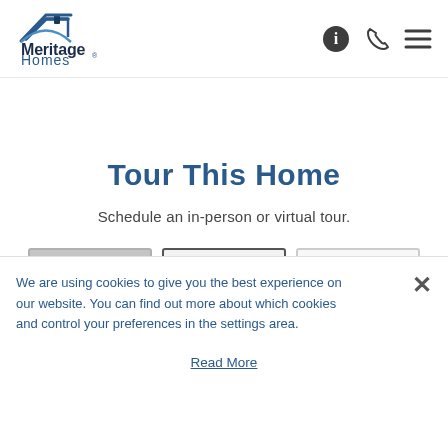[Figure (logo): Meritage Homes logo with house/roof icon in dark blue and light blue, company name in dark navy and blue]
[Figure (infographic): Header navigation icons: info circle, phone, hamburger menu]
Tour This Home
Schedule an in-person or virtual tour.
[Figure (screenshot): Three tab/button options partially visible: gray tab, white active tab with border, white tab]
We are using cookies to give you the best experience on our website. You can find out more about which cookies and control your preferences in the settings area.
Read More